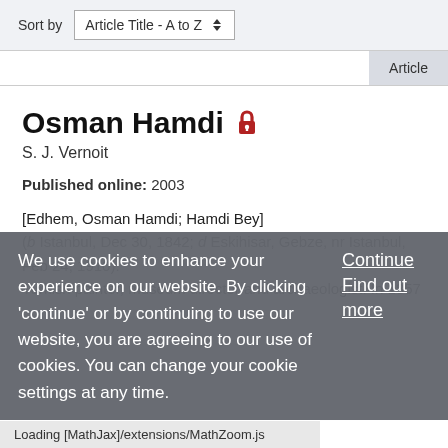Sort by  Article Title - A to Z
Article
Osman Hamdi 🔒
S. J. Vernoit
Published online: 2003
[Edhem, Osman Hamdi; Hamdi Bey]
(b Istanbul, Dec 30, 1842; d Eskihisar, Gebze, nr Istanbul, Feb 24, 1910).
Turkish painter, museum director and archaeologist. In 1857
We use cookies to enhance your experience on our website. By clicking 'continue' or by continuing to use our website, you are agreeing to our use of cookies. You can change your cookie settings at any time.
Continue
Find out more
Loading [MathJax]/extensions/MathZoom.js